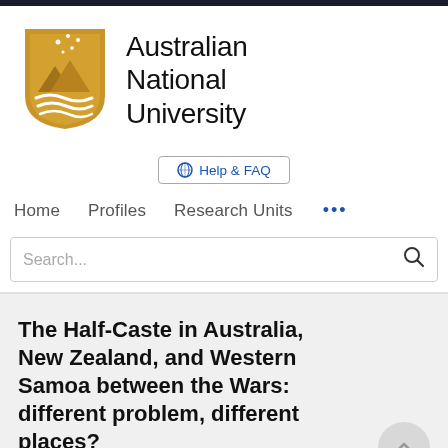[Figure (logo): Australian National University crest logo in gold/amber color showing mountains and waves with stars above, shield shape]
Australian National University
⊕ Help & FAQ
Home   Profiles   Research Units   •••
Search...
The Half-Caste in Australia, New Zealand, and Western Samoa between the Wars: different problem, different places?
Vicki Luker